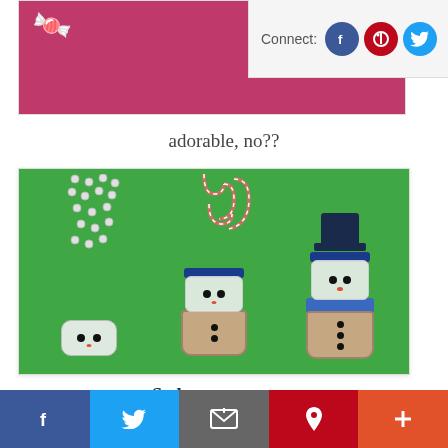[Figure (photo): Top portion of a blog page showing a partial image with pink/magenta background and candy canes, with a 'Connect:' social media bar showing Facebook, Pinterest, and Twitter icons on the right]
adorable, no??
[Figure (photo): Three snowman figurines made from stacked plastic cups on a green background. Candies and candy canes are shown being poured/falling into each cup. The completed snowman on the right has a blue top hat, blue scarf, and button eyes.]
So let me sum up:
Social sharing bar with Facebook, Twitter, Email, Pinterest, and More (+) buttons